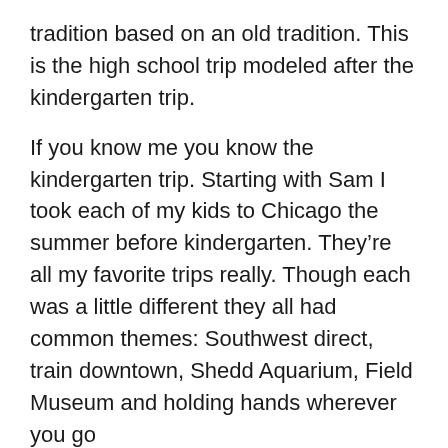tradition based on an old tradition. This is the high school trip modeled after the kindergarten trip.
If you know me you know the kindergarten trip. Starting with Sam I took each of my kids to Chicago the summer before kindergarten. They're all my favorite trips really. Though each was a little different they all had common themes: Southwest direct, train downtown, Shedd Aquarium, Field Museum and holding hands wherever you go
I think it's the holding hands that I miss the most.
Chicago's a big city with lots of action so when you walk down the street, and you slow down to match your gait with smaller legs, you hold hands. It feels really good. And I think the kids love it too. You're not carrying them or